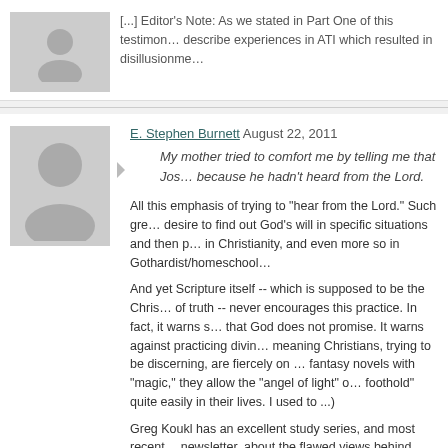[...] Editor's Note: As we stated in Part One of this testimony, describe experiences in ATI which resulted in disillusionment
[Figure (photo): Default user avatar placeholder (gray silhouette of a person)]
E. Stephen Burnett August 22, 2011
My mother tried to comfort me by telling me that Jos... because he hadn't heard from the Lord.
All this emphasis of trying to "hear from the Lord." Such great desire to find out God's will in specific situations and then p... in Christianity, and even more so in Gothardist/homeschool...
And yet Scripture itself -- which is supposed to be the Chris... of truth -- never encourages this practice. In fact, it warns s... that God does not promise. It warns against practicing divin... meaning Christians, trying to be discerning, are fiercely on ... fantasy novels with "magic," they allow the "angel of light" o... foothold" quite easily in their lives. I used to ...)
Greg Koukl has an excellent study series, and most recent... newsletter, about the flawed views behind evangelical divin... God's glory and with trust in His sovereignty, it can help s...